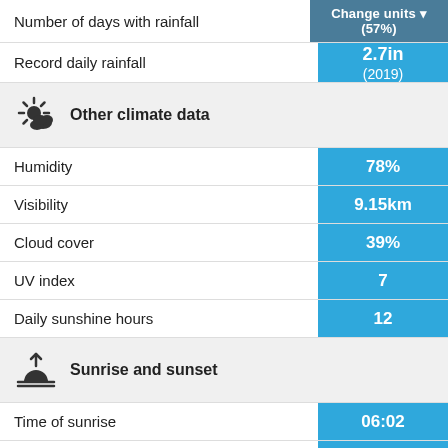| Metric | Value |
| --- | --- |
| Number of days with rainfall | Change units ▾ (57%) |
| Record daily rainfall | 2.7in (2019) |
| Other climate data |  |
| Humidity | 78% |
| Visibility | 9.15km |
| Cloud cover | 39% |
| UV index | 7 |
| Daily sunshine hours | 12 |
| Sunrise and sunset |  |
| Time of sunrise | 06:02 |
| Time of sunset | 18:19 |